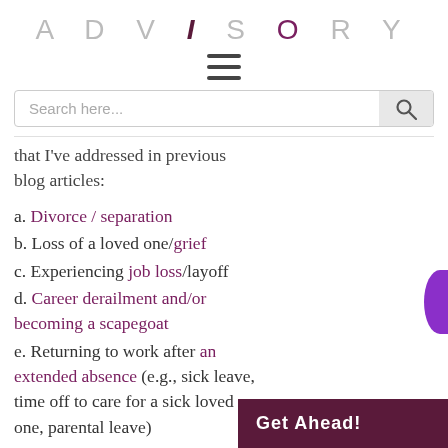ADVISORY
[Figure (other): Hamburger menu icon (three horizontal lines)]
[Figure (other): Search bar with placeholder 'Search here...' and magnifying glass button]
that I've addressed in previous blog articles:
a. Divorce / separation
b. Loss of a loved one/grief
c. Experiencing job loss/layoff
d. Career derailment and/or becoming a scapegoat
e. Returning to work after an extended absence (e.g., sick leave, time off to care for a sick loved one, parental leave)
f. Experiencing domestic vio[lence]
Get Ahead!